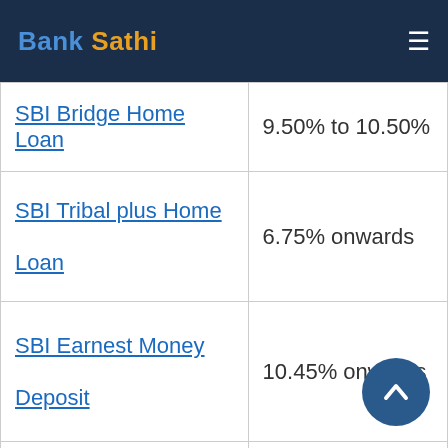Bank Sathi
| Loan Type | Interest Rate |
| --- | --- |
| SBI Bridge Home Loan | 9.50% to 10.50% |
| SBI Tribal plus Home Loan | 6.75% onwards |
| SBI Earnest Money Deposit | 10.45% onwards |
| SBI Reverse Mortgage Loan | 8.05% onwards |